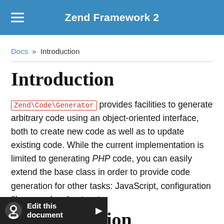Zend Framework 2
Docs » Introduction
Introduction
Zend\Code\Generator provides facilities to generate arbitrary code using an object-oriented interface, both to create new code as well as to update existing code. While the current implementation is limited to generating PHP code, you can easily extend the base class in order to provide code generation for other tasks: JavaScript, configuration files, apache vhosts, etc.
Theory of Operation